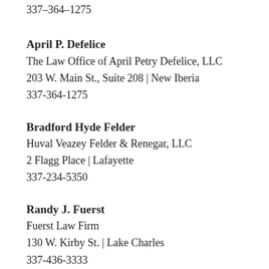337-364-1275
April P. Defelice
The Law Office of April Petry Defelice, LLC
203 W. Main St., Suite 208 | New Iberia
337-364-1275
Bradford Hyde Felder
Huval Veazey Felder & Renegar, LLC
2 Flagg Place | Lafayette
337-234-5350
Randy J. Fuerst
Fuerst Law Firm
130 W. Kirby St. | Lake Charles
337-436-3333